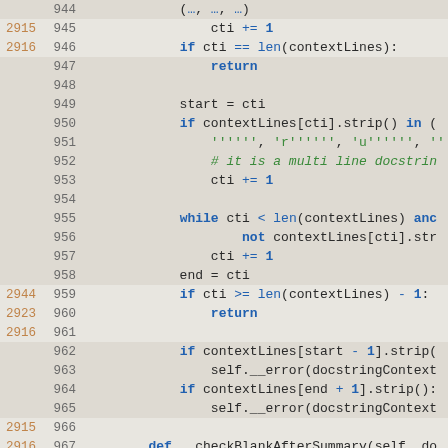[Figure (screenshot): Code editor screenshot showing Python source code lines 944-974 with line coverage numbers on the left (orange), line numbers in the middle (gray), and syntax-highlighted Python code on the right. The code shows a function checking docstring context lines.]